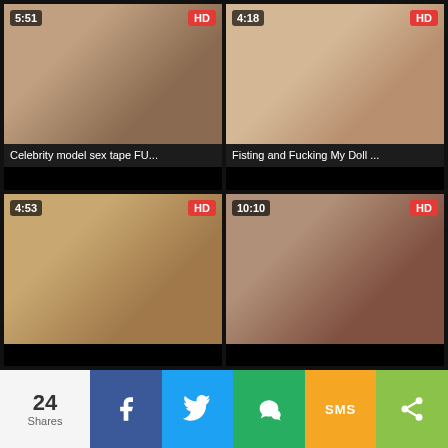[Figure (screenshot): Video thumbnail grid showing 4 adult video thumbnails with duration and HD badges, plus two partial thumbnails at top]
Celebrity model sex tape FU...
Fisting and Fucking My Doll ...
24 Shares — share bar with Facebook, Twitter, WeChat, SMS, and more buttons